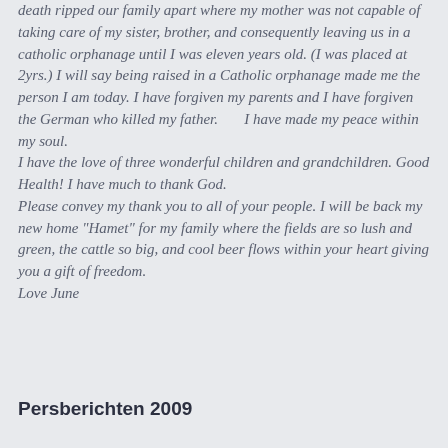death ripped our family apart where my mother was not capable of taking care of my sister, brother, and consequently leaving us in a catholic orphanage until I was eleven years old.  (I was placed at 2yrs.) I will say being raised in a Catholic orphanage made me the person I am today.  I have forgiven my parents and I have forgiven the German who killed my father.        I have made my peace within my soul.
I have the love of three wonderful children and grandchildren.  Good Health!  I have much to thank God.
Please convey my thank you to all of your people.  I will be back my new home "Hamet" for my family where the fields are so lush and green, the cattle so big, and cool beer flows within your heart giving you a gift of freedom.
Love June
Persberichten 2009